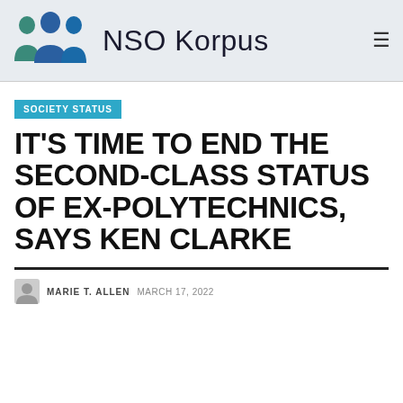NSO Korpus
SOCIETY STATUS
IT'S TIME TO END THE SECOND-CLASS STATUS OF EX-POLYTECHNICS, SAYS KEN CLARKE
MARIE T. ALLEN  MARCH 17, 2022